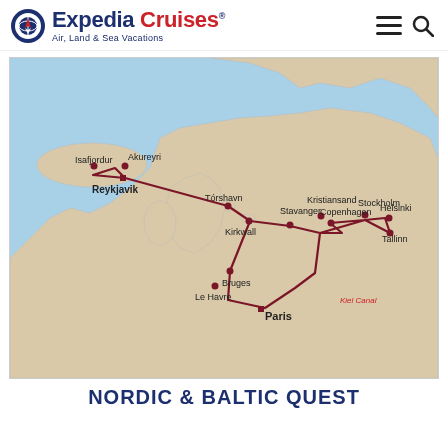Expedia Cruises — Air, Land & Sea Vacations
[Figure (map): Cruise route map of Northern Europe showing stops: Reykjavik, Isafjordur, Akureyri, Torshavn, Kirkwall, Stavanger, Kristiansand, Copenhagen, Stockholm, Helsinki, Tallinn, Bruges, Le Havre, Paris, Kiel Canal. Route drawn as dark red line connecting all ports.]
NORDIC & BALTIC QUEST